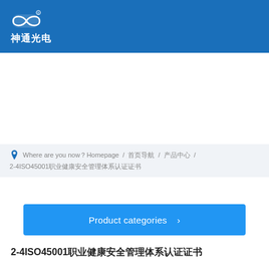神通光电
Where are you now？Homepage / 首页导航 / 产品中心 / 2-4ISO45001职业健康安全管理体系认证证书
[Figure (other): Product categories button with right arrow]
2-4ISO45001职业健康安全管理体系认证证书